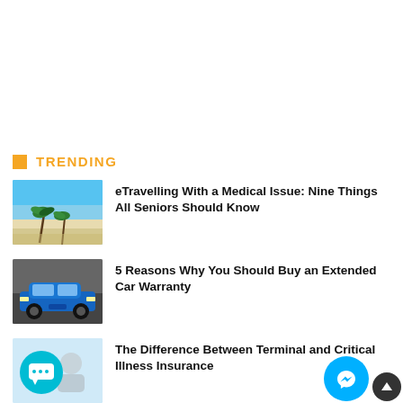TRENDING
[Figure (photo): Tropical beach with palm trees and white sand]
eTravelling With a Medical Issue: Nine Things All Seniors Should Know
[Figure (photo): Blue BMW car on a road]
5 Reasons Why You Should Buy an Extended Car Warranty
[Figure (photo): Chat bubble icon with person in background]
The Difference Between Terminal and Critical Illness Insurance